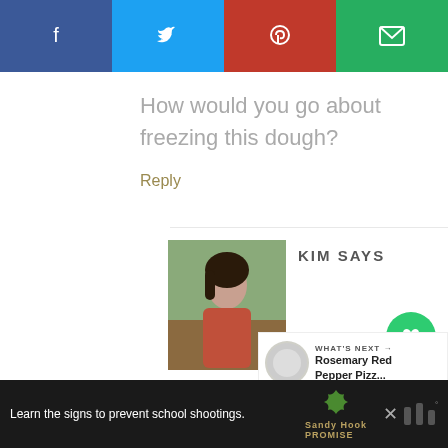[Figure (infographic): Social sharing bar with Facebook (blue-gray), Twitter (blue), Pinterest (red), and email (green) buttons with icons]
How would you go about freezing this dough?
Reply
[Figure (photo): Profile photo of Kim, a young woman with dark hair, standing outdoors in a vineyard]
KIM SAYS
[Figure (infographic): Floating sidebar with green heart/like button showing 2.3K, and a share button]
[Figure (infographic): What's Next panel showing a dough ball image and text: Rosemary Red Pepper Pizz...]
[Figure (infographic): Ad bar at bottom: Learn the signs to prevent school shootings. Sandy Hook Promise logo and tree graphic]